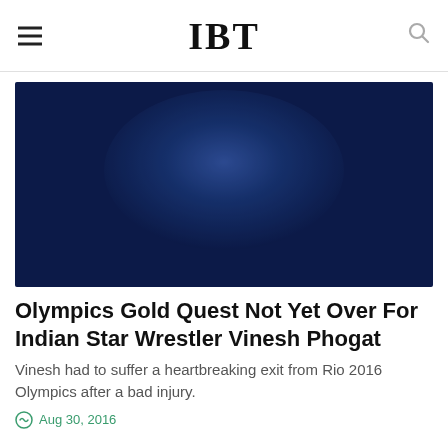IBT
[Figure (photo): Dark navy blue blurred background image, likely a placeholder or low-resolution photo with a lighter glow in the center]
Olympics Gold Quest Not Yet Over For Indian Star Wrestler Vinesh Phogat
Vinesh had to suffer a heartbreaking exit from Rio 2016 Olympics after a bad injury.
Aug 30, 2016